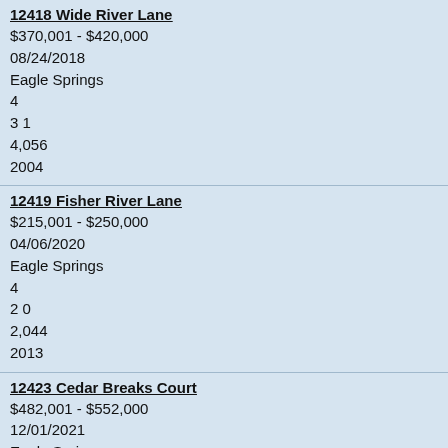12418 Wide River Lane
$370,001 - $420,000
08/24/2018
Eagle Springs
4
3 1
4,056
2004
12419 Fisher River Lane
$215,001 - $250,000
04/06/2020
Eagle Springs
4
2 0
2,044
2013
12423 Cedar Breaks Court
$482,001 - $552,000
12/01/2021
Eagle Springs
5
4 0
4,487
2003
12426 Adams Ridge Lane